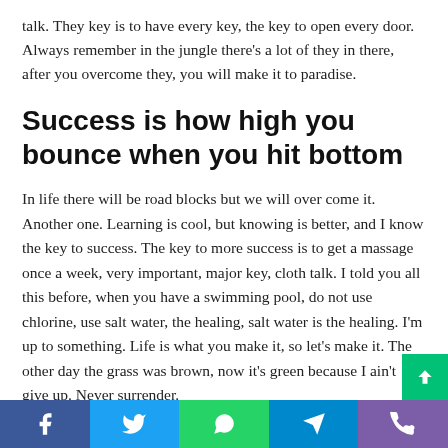talk. They key is to have every key, the key to open every door. Always remember in the jungle there's a lot of they in there, after you overcome they, you will make it to paradise.
Success is how high you bounce when you hit bottom
In life there will be road blocks but we will over come it. Another one. Learning is cool, but knowing is better, and I know the key to success. The key to more success is to get a massage once a week, very important, major key, cloth talk. I told you all this before, when you have a swimming pool, do not use chlorine, use salt water, the healing, salt water is the healing. I'm up to something. Life is what you make it, so let's make it. The other day the grass was brown, now it's green because I ain't give up. Never surrender.
Social share bar: Facebook, Twitter, WhatsApp, Telegram, Phone